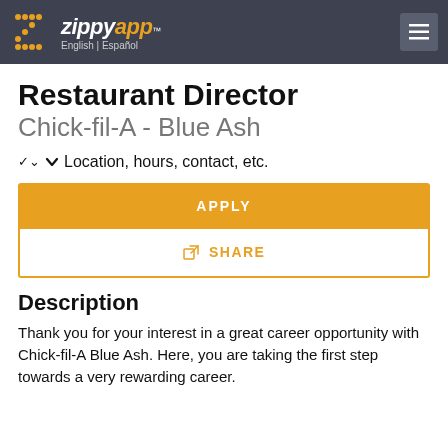ZippyApp™ English | Español
Restaurant Director
Chick-fil-A - Blue Ash
Location, hours, contact, etc.
APPLY
SHARE
Description
Thank you for your interest in a great career opportunity with Chick-fil-A Blue Ash. Here, you are taking the first step towards a very rewarding career.